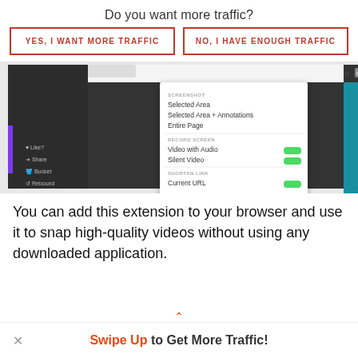Do you want more traffic?
YES, I WANT MORE TRAFFIC
NO, I HAVE ENOUGH TRAFFIC
[Figure (screenshot): Screenshot of a browser extension (Droplr/screen capture tool) showing a dropdown menu with options: SCREENSHOT - Selected Area, Selected Area + Annotations, Entire Page; RECORD SCREEN - Video with Audio, Silent Video; SHORTEN LINK - Current URL. Also shows the Chrome Web Store listing for the extension with description and additional information (Version: 2.0.7, Updated: September 22, 2017, Size: 2.37MB, Language: English).]
You can add this extension to your browser and use it to snap high-quality videos without using any downloaded application.
Swipe Up to Get More Traffic!